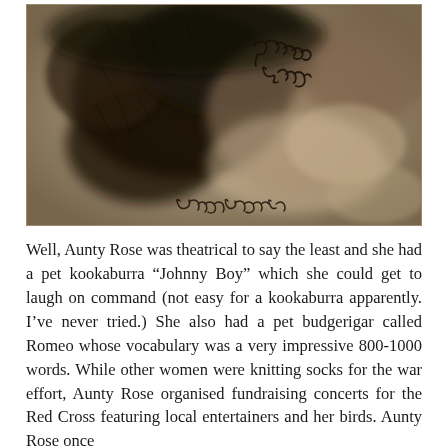[Figure (photo): A sepia-toned vintage photograph showing what appears to be a furry/fluffy texture, possibly an animal close-up. There is a cursive handwritten inscription in the upper right reading 'Pauline Burch' and another signature at the bottom reading 'Dorothy Coleman'.]
Well, Aunty Rose was theatrical to say the least and she had a pet kookaburra “Johnny Boy” which she could get to laugh on command (not easy for a kookaburra apparently. I’ve never tried.) She also had a pet budgerigar called Romeo whose vocabulary was a very impressive 800-1000 words. While other women were knitting socks for the war effort, Aunty Rose organised fundraising concerts for the Red Cross featuring local entertainers and her birds. Aunty Rose once